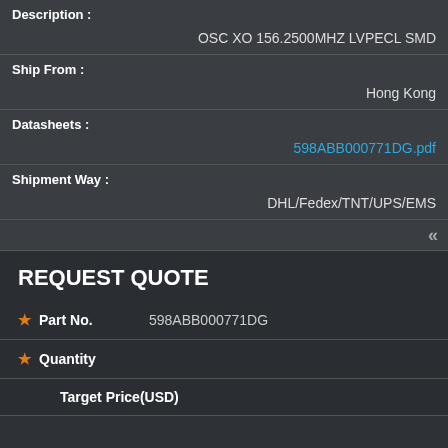Description :
OSC XO 156.2500MHZ LVPECL SMD
Ship From :
Hong Kong
Datasheets :
598ABB000771DG.pdf
Shipment Way :
DHL/Fedex/TNT/UPS/EMS
REQUEST QUOTE
|  | Field | Value |
| --- | --- | --- |
| * | Part No. | 598ABB000771DG |
| * | Quantity |  |
|  | Target Price(USD) |  |